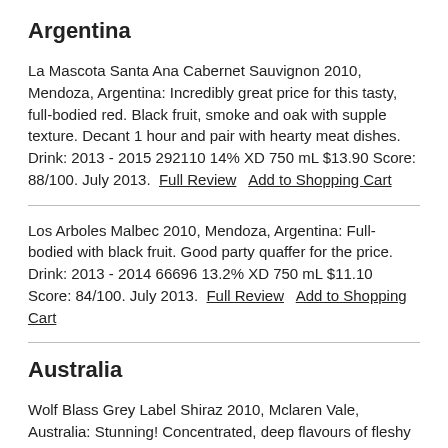Argentina
La Mascota Santa Ana Cabernet Sauvignon 2010, Mendoza, Argentina: Incredibly great price for this tasty, full-bodied red. Black fruit, smoke and oak with supple texture. Decant 1 hour and pair with hearty meat dishes. Drink: 2013 - 2015 292110 14% XD 750 mL $13.90 Score: 88/100. July 2013.  Full Review   Add to Shopping Cart
Los Arboles Malbec 2010, Mendoza, Argentina: Full-bodied with black fruit. Good party quaffer for the price. Drink: 2013 - 2014 66696 13.2% XD 750 mL $11.10 Score: 84/100. July 2013.  Full Review   Add to Shopping Cart
Australia
Wolf Blass Grey Label Shiraz 2010, Mclaren Vale, Australia: Stunning! Concentrated, deep flavours of fleshy black fruit, toasty oak, anise. Plush and supple, superbly crafted. Incredible quality for the price. Pair with filet